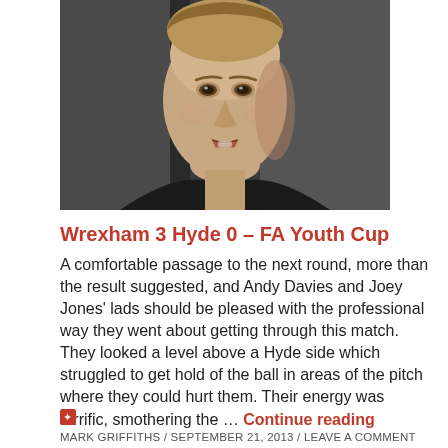[Figure (photo): Close-up photograph of a young man's face against a dark background]
Wrexham 3 Hyde 0 – FA Youth Cup
A comfortable passage to the next round, more than the result suggested, and Andy Davies and Joey Jones' lads should be pleased with the professional way they went about getting through this match. They looked a level above a Hyde side which struggled to get hold of the ball in areas of the pitch where they could hurt them. Their energy was terrific, smothering the … Continue reading
MARK GRIFFITHS / SEPTEMBER 21, 2013 / LEAVE A COMMENT